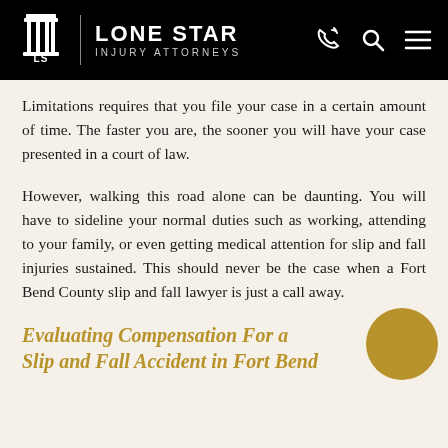LONE STAR INJURY ATTORNEYS
Limitations requires that you file your case in a certain amount of time. The faster you are, the sooner you will have your case presented in a court of law.
However, walking this road alone can be daunting. You will have to sideline your normal duties such as working, attending to your family, or even getting medical attention for slip and fall injuries sustained. This should never be the case when a Fort Bend County slip and fall lawyer is just a call away.
Evaluating Compensation For a Slip and Fall Accident in Fort Bend...